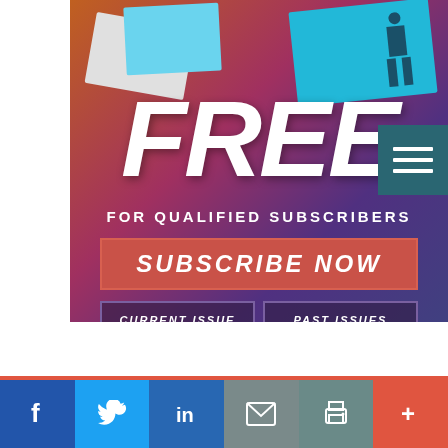[Figure (infographic): Magazine subscription advertisement banner with gradient background (orange to purple), decorative magazine cards in top area, large italic white FREE text, FOR QUALIFIED SUBSCRIBERS subtitle, red SUBSCRIBE NOW button, and two outline buttons for CURRENT ISSUE and PAST ISSUES. Top right has teal hamburger menu icon.]
FREE
FOR QUALIFIED SUBSCRIBERS
SUBSCRIBE NOW
CURRENT ISSUE
PAST ISSUES
[Figure (infographic): Social sharing bar at bottom with Facebook (dark blue), Twitter (light blue), LinkedIn (blue), Email (gray), Print (gray-teal), and More/plus (orange-red) buttons with white icons.]